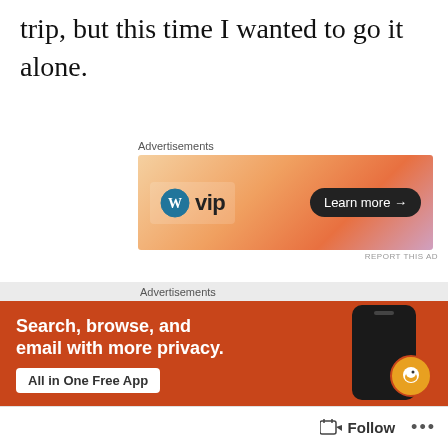trip, but this time I wanted to go it alone.
[Figure (screenshot): WordPress VIP advertisement banner with gradient orange/pink background, WP VIP logo on left, 'Learn more →' button on right]
Camping is in my blood, always has been, there is something about being alone in a tent, just you and your gear that really speaks to me. I think it's
[Figure (screenshot): DuckDuckGo advertisement banner with orange/red background, text 'Search, browse, and email with more privacy.' with 'All in One Free App' button and phone graphic]
Follow   ...